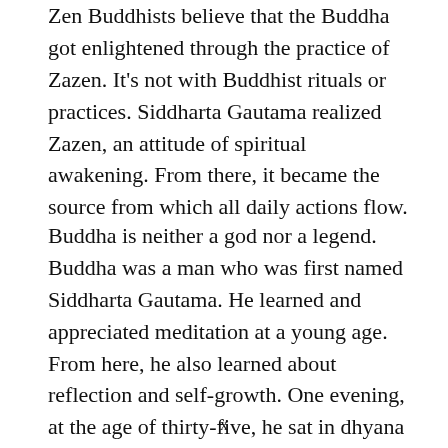Zen Buddhists believe that the Buddha got enlightened through the practice of Zazen. It's not with Buddhist rituals or practices. Siddharta Gautama realized Zazen, an attitude of spiritual awakening. From there, it became the source from which all daily actions flow.
Buddha is neither a god nor a legend. Buddha was a man who was first named Siddharta Gautama. He learned and appreciated meditation at a young age. From here, he also learned about reflection and self-growth. One evening, at the age of thirty-five, he sat in dhyana (a Sanskrit term
x